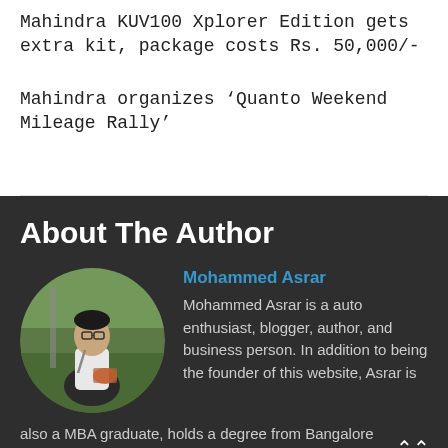Mahindra KUV100 Xplorer Edition gets extra kit, package costs Rs. 50,000/-
Mahindra organizes ‘Quanto Weekend Mileage Rally’
About The Author
[Figure (photo): Circular cropped photo of Mohammed Asrar, a young man standing outdoors on a grassy area]
Mohammed Asrar
Mohammed Asrar is a auto enthusiast, blogger, author, and business person. In addition to being the founder of this website, Asrar is also a MBA graduate, holds a degree from Bangalore University. His personal interests beyond